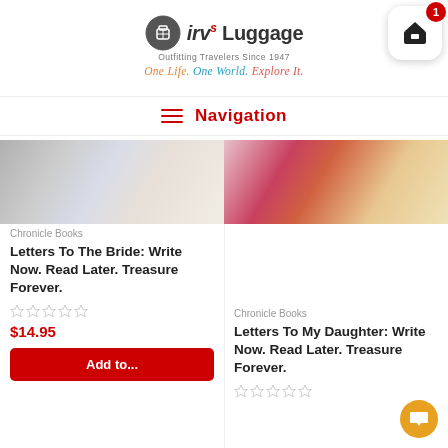[Figure (logo): irv's Luggage logo with shopping cart icon. Logo shows suitcase icon, brand name 'irv's Luggage', tagline 'Outfitting Travelers Since 1947', and script tagline 'One Life. One World. Explore It.' Cart icon has badge showing 1 item.]
Navigation
[Figure (photo): Blurred book cover image - left product, grey/blue tones]
Chronicle Books
Letters To The Bride: Write Now. Read Later. Treasure Forever.
★★★★★
$14.95
[Figure (photo): Blurred book cover image - right product, red/cream tones]
Chronicle Books
Letters To My Daughter: Write Now. Read Later. Treasure Forever.
★★★★★